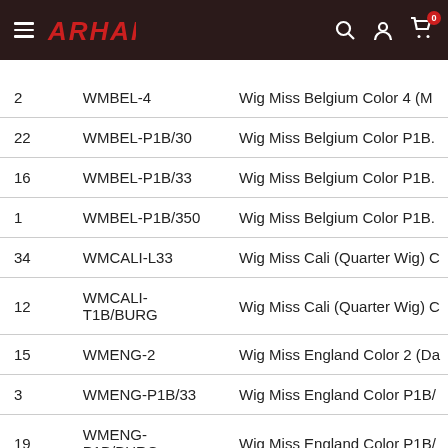ARHAIR navigation header
| Qty | SKU | Product Name |
| --- | --- | --- |
| 2 | WMBEL-4 | Wig Miss Belgium Color 4 (M |
| 22 | WMBEL-P1B/30 | Wig Miss Belgium Color P1B. |
| 16 | WMBEL-P1B/33 | Wig Miss Belgium Color P1B. |
| 1 | WMBEL-P1B/350 | Wig Miss Belgium Color P1B. |
| 34 | WMCALI-L33 | Wig Miss Cali (Quarter Wig) C |
| 12 | WMCALI-T1B/BURG | Wig Miss Cali (Quarter Wig) C |
| 15 | WMENG-2 | Wig Miss England Color 2 (Da |
| 3 | WMENG-P1B/33 | Wig Miss England Color P1B/ |
| 19 | WMENG-P1B/BURG | Wig Miss England Color P1B/ |
| 3 | WMEUR-2 | Wig Miss Europo Color 2 (Da |